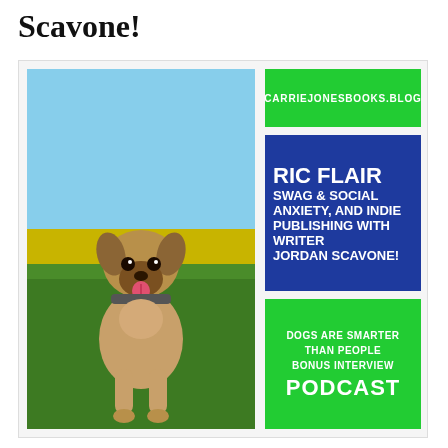Scavone!
[Figure (photo): A cute puppy (tan/brown coloring, appears to be a Puggle or similar breed) sitting upright on green grass with a blue sky and yellow field in the background, tongue out, smiling at the camera.]
CARRIEJONESBOOKS.BLOG
RIC FLAIR SWAG & SOCIAL ANXIETY, AND INDIE PUBLISHING WITH WRITER JORDAN SCAVONE!
DOGS ARE SMARTER THAN PEOPLE BONUS INTERVIEW PODCAST